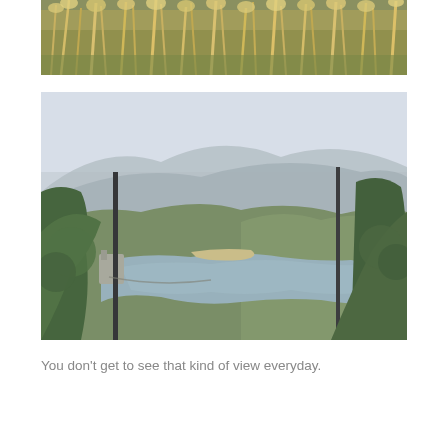[Figure (photo): Close-up photo of tall dry grass/reeds with green vegetation, taken from below looking up]
[Figure (photo): Scenic landscape photo of a reservoir or dam with calm water, surrounded by green forested hills and mountains in the background, viewed through tree trunks and foliage, with two dark vertical poles/trees in the foreground]
You don't get to see that kind of view everyday.